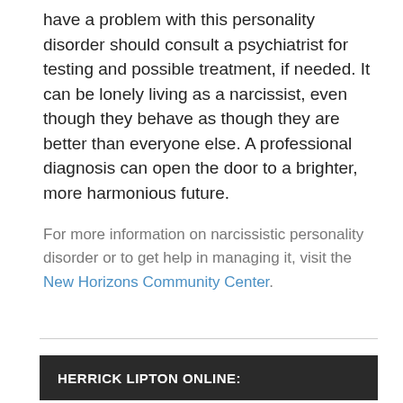have a problem with this personality disorder should consult a psychiatrist for testing and possible treatment, if needed. It can be lonely living as a narcissist, even though they behave as though they are better than everyone else. A professional diagnosis can open the door to a brighter, more harmonious future.
For more information on narcissistic personality disorder or to get help in managing it, visit the New Horizons Community Center.
HERRICK LIPTON ONLINE:
Behavioral Health